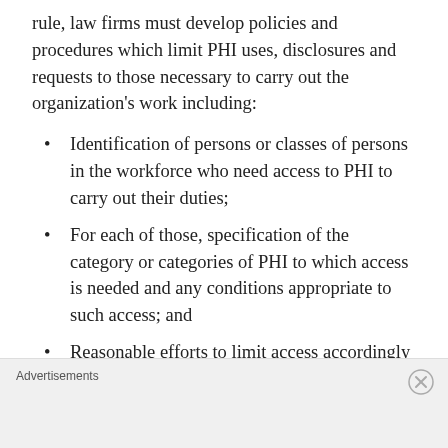rule, law firms must develop policies and procedures which limit PHI uses, disclosures and requests to those necessary to carry out the organization's work including:
Identification of persons or classes of persons in the workforce who need access to PHI to carry out their duties;
For each of those, specification of the category or categories of PHI to which access is needed and any conditions appropriate to such access; and
Reasonable efforts to limit access accordingly
Advertisements